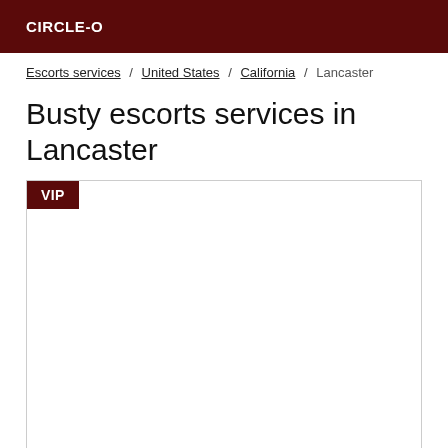CIRCLE-O
Escorts services / United States / California / Lancaster
Busty escorts services in Lancaster
[Figure (other): Listing card with VIP badge and empty image area]